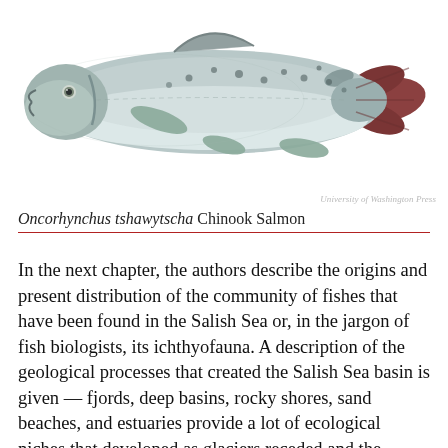[Figure (illustration): Illustration of a Chinook Salmon (Oncorhynchus tshawytscha), shown in profile view facing left, with silvery body, dark spots on back and tail, and a reddish-brown tail fin. Credit: University of Washington Press.]
Oncorhynchus tshawytscha Chinook Salmon
In the next chapter, the authors describe the origins and present distribution of the community of fishes that have been found in the Salish Sea or, in the jargon of fish biologists, its ichthyofauna. A description of the geological processes that created the Salish Sea basin is given — fjords, deep basins, rocky shores, sand beaches, and estuaries provide a lot of ecological niches that developed as glaciers receded and the coastline was formed. This variety of habitats enabled fish species from the north and south coasts of the northeast Pacific to colonize